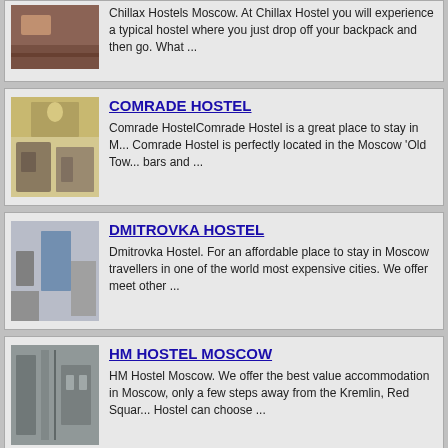[Figure (photo): Partial photo of Chillax Hostel interior with wooden floor]
Chillax Hostels Moscow. At Chillax Hostel you will experience a typical hostel where you just drop off your backpack and then go. What ...
COMRADE HOSTEL
[Figure (photo): Photo of Comrade Hostel interior with chandelier and antique furniture]
Comrade HostelComrade Hostel is a great place to stay in Moscow. Comrade Hostel is perfectly located in the Moscow 'Old Town' bars and ...
DMITROVKA HOSTEL
[Figure (photo): Photo of Dmitrovka Hostel room with blue curtains]
Dmitrovka Hostel. For an affordable place to stay in Moscow travellers in one of the world most expensive cities. We offer meet other ...
HM HOSTEL MOSCOW
[Figure (photo): Photo of HM Hostel Moscow interior]
HM Hostel Moscow. We offer the best value accommodation in Moscow, only a few steps away from the Kremlin, Red Squar... Hostel can choose ...